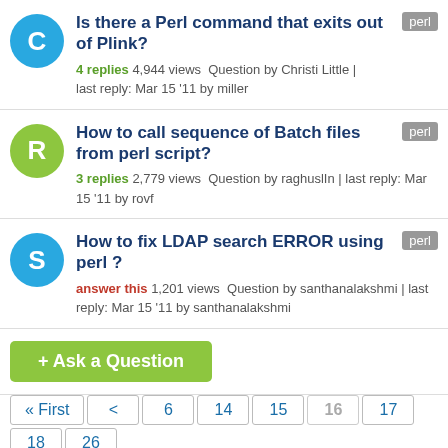Is there a Perl command that exits out of Plink? | 4 replies 4,944 views Question by Christi Little | last reply: Mar 15 '11 by miller | tag: perl
How to call sequence of Batch files from perl script? | 3 replies 2,779 views Question by raghuslIn | last reply: Mar 15 '11 by rovf | tag: perl
How to fix LDAP search ERROR using perl ? | answer this 1,201 views Question by santhanalakshmi | last reply: Mar 15 '11 by santhanalakshmi | tag: perl
+ Ask a Question
« First  <  6  14  15  16  17  18  26  >  Last »